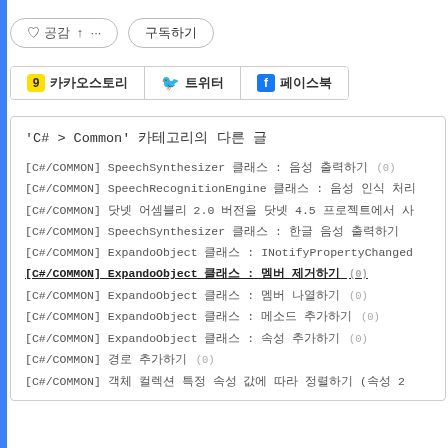♡ 공감  ↑ ···   구독하기
카카오스토리   트위터   페이스북
'C# > Common' 카테고리의 다른 글
[C#/COMMON] SpeechSynthesizer 클래스 : 음성 출력하기 (0)
[C#/COMMON] SpeechRecognitionEngine 클래스 : 음성 인식 처리
[C#/COMMON] 닷넷 어셈블리 2.0 버전을 닷넷 4.5 프로젝트에서 사
[C#/COMMON] SpeechSynthesizer 클래스 : 한글 음성 출력하기
[C#/COMMON] ExpandoObject 클래스 : INotifyPropertyChanged
[C#/COMMON] ExpandoObject 클래스 : 멤버 제거하기 (0)
[C#/COMMON] ExpandoObject 클래스 : 멤버 나열하기 (0)
[C#/COMMON] ExpandoObject 클래스 : 메소드 추가하기 (0)
[C#/COMMON] ExpandoObject 클래스 : 속성 추가하기 (0)
[C#/COMMON] 경로 추가하기 (0)
[C#/COMMON] 객체 컬렉션 특정 속성 값에 따라 정렬하기 (속성 2